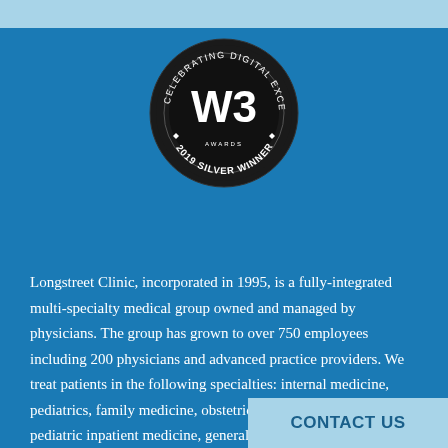[Figure (logo): W3 Awards badge — circular dark badge with text 'CELEBRATING DIGITAL EXCELLENCE' around the top, large 'W3' logo in center, and '2019 SILVER WINNER' around the bottom]
Longstreet Clinic, incorporated in 1995, is a fully-integrated multi-specialty medical group owned and managed by physicians. The group has grown to over 750 employees including 200 physicians and advanced practice providers. We treat patients in the following specialties: internal medicine, pediatrics, family medicine, obstetrics, gynecology, adult and pediatric inpatient medicine, general surgery, oncology, hematology, ph
CONTACT US